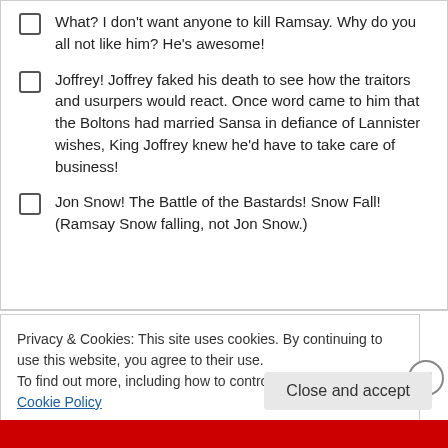What? I don't want anyone to kill Ramsay. Why do you all not like him? He's awesome!
Joffrey! Joffrey faked his death to see how the traitors and usurpers would react. Once word came to him that the Boltons had married Sansa in defiance of Lannister wishes, King Joffrey knew he'd have to take care of business!
Jon Snow! The Battle of the Bastards! Snow Fall! (Ramsay Snow falling, not Jon Snow.)
Privacy & Cookies: This site uses cookies. By continuing to use this website, you agree to their use.
To find out more, including how to control cookies, see here: Cookie Policy